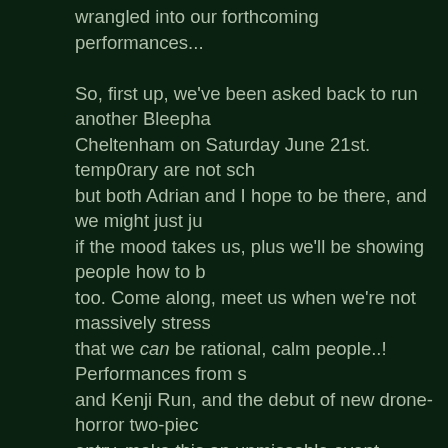wrangled into our forthcoming performances... So, first up, we've been asked back to run another Bleepha Cheltenham on Saturday June 21st. temp0rary are not sch but both Adrian and I hope to be there, and we might just ju if the mood takes us, plus we'll be showing people how to b too. Come along, meet us when we're not massively stress that we can be rational, calm people..! Performances from s and Kenji Run, and the debut of new drone-horror two-piec entry, make this an unmissable event.